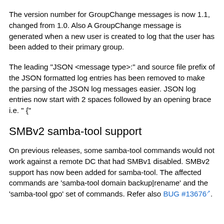The version number for GroupChange messages is now 1.1, changed from 1.0. Also A GroupChange message is generated when a new user is created to log that the user has been added to their primary group.
The leading "JSON <message type>:" and source file prefix of the JSON formatted log entries has been removed to make the parsing of the JSON log messages easier. JSON log entries now start with 2 spaces followed by an opening brace i.e. " {"
SMBv2 samba-tool support
On previous releases, some samba-tool commands would not work against a remote DC that had SMBv1 disabled. SMBv2 support has now been added for samba-tool. The affected commands are 'samba-tool domain backup|rename' and the 'samba-tool gpo' set of commands. Refer also BUG #13676.